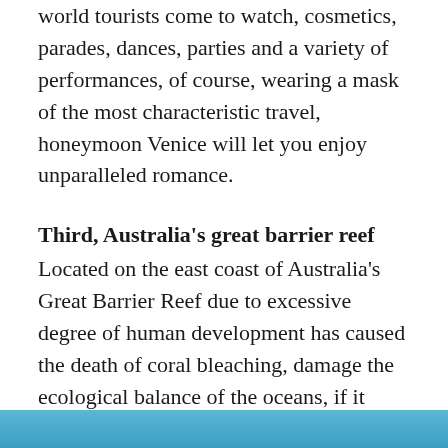world tourists come to watch, cosmetics, parades, dances, parties and a variety of performances, of course, wearing a mask of the most characteristic travel, honeymoon Venice will let you enjoy unparalleled romance.
Third, Australia's great barrier reef
Located on the east coast of Australia's Great Barrier Reef due to excessive degree of human development has caused the death of coral bleaching, damage the ecological balance of the oceans, if it continues like this, the beauty of this is likely in the next 8 – 10 years disappear, another honeymoon Holy Land on Earth.It will disappear.
[Figure (photo): A strip of blue-toned image at the bottom of the page, likely showing ocean or reef imagery.]